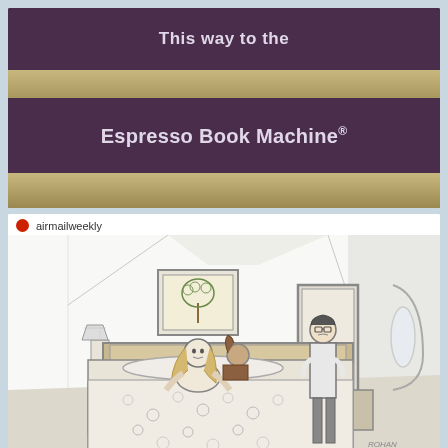[Figure (photo): Photo of staircase with purple risers. Text on stairs reads 'This way to the Espresso Book Machine®']
airmailweekly
[Figure (illustration): Black and white cartoon illustration from airmailweekly showing a bedroom scene: a woman sitting up in bed, a man in the doorway looking in, a nightstand with lamp on the left, a painting on the wall, and a door on the right side.]